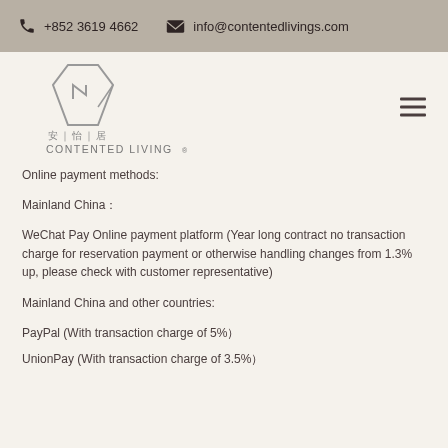+852 3619 4662   info@contentedlivings.com
[Figure (logo): Contented Living logo with geometric house shape and Chinese characters 安|怡|居, CONTENTED LIVING® text below]
Online payment methods:
Mainland China：
WeChat Pay Online payment platform (Year long contract no transaction charge for reservation payment or otherwise handling changes from 1.3% up, please check with customer representative)
Mainland China and other countries:
PayPal (With transaction charge of 5%）
UnionPay (With transaction charge of 3.5%）